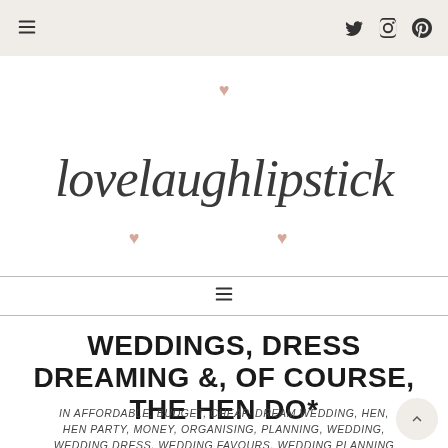Navigation bar with hamburger menu and social icons (Twitter, Instagram, Pinterest)
[Figure (logo): lovelaughlipstick cursive script logo with decorative pink hearts above and below]
Secondary navigation bar with hamburger/menu icon
WEDDINGS, DRESS DREAMING &, OF COURSE, THE HEN DO*
IN AFFORDABLE, BUDGET, CHEAP, DREAM WEDDING, HEN, HEN PARTY, MONEY, ORGANISING, PLANNING, WEDDING, WEDDING DRESS, WEDDING FAVOURS, WEDDING PLANNING